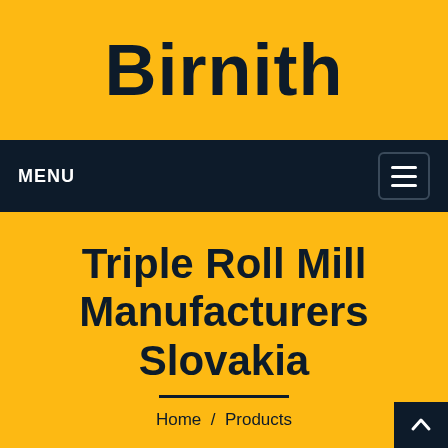Birnith
MENU
Triple Roll Mill Manufacturers Slovakia
Home / Products